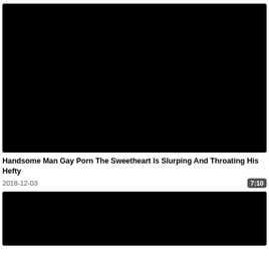[Figure (photo): Black video thumbnail placeholder]
Handsome Man Gay Porn The Sweetheart Is Slurping And Throating His Hefty
2018-12-03   7:10
[Figure (photo): Black video thumbnail placeholder (second)]